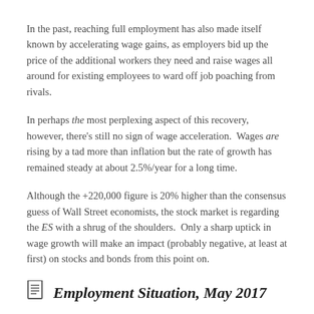In the past, reaching full employment has also made itself known by accelerating wage gains, as employers bid up the price of the additional workers they need and raise wages all around for existing employees to ward off job poaching from rivals.
In perhaps the most perplexing aspect of this recovery, however, there's still no sign of wage acceleration. Wages are rising by a tad more than inflation but the rate of growth has remained steady at about 2.5%/year for a long time.
Although the +220,000 figure is 20% higher than the consensus guess of Wall Street economists, the stock market is regarding the ES with a shrug of the shoulders. Only a sharp uptick in wage growth will make an impact (probably negative, at least at first) on stocks and bonds from this point on.
Employment Situation, May 2017